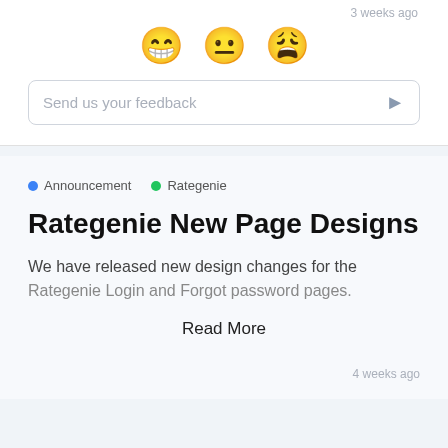3 weeks ago
[Figure (illustration): Three emoji faces: a grinning face, a neutral face, and a tired/relieved face]
Send us your feedback
• Announcement   • Rategenie
Rategenie New Page Designs
We have released new design changes for the Rategenie Login and Forgot password pages.
Read More
4 weeks ago